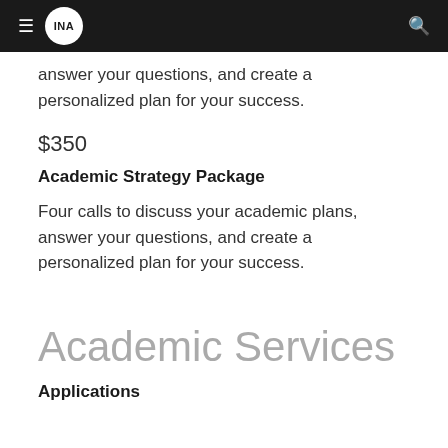INA
answer your questions, and create a personalized plan for your success.
$350
Academic Strategy Package
Four calls to discuss your academic plans, answer your questions, and create a personalized plan for your success.
Academic Services
Applications